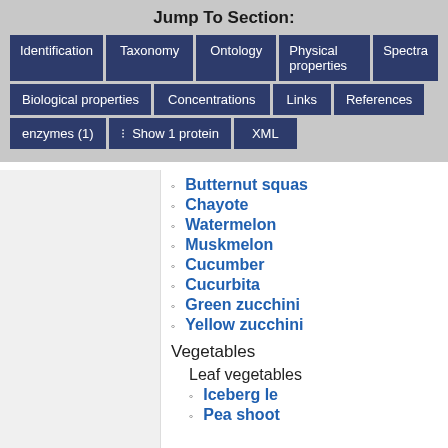Jump To Section:
Identification
Taxonomy
Ontology
Physical properties
Spectra
Biological properties
Concentrations
Links
References
enzymes (1)
Show 1 protein
XML
Butternut squash
Chayote
Watermelon
Muskmelon
Cucumber
Cucurbita
Green zucchini
Yellow zucchini
Vegetables
Leaf vegetables
Iceberg le
Pea shoot